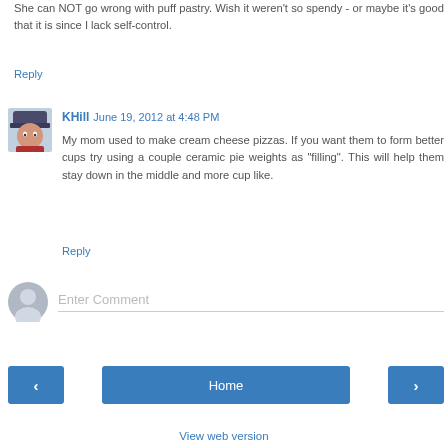She can NOT go wrong with puff pastry. Wish it weren't so spendy - or maybe it's good that it is since I lack self-control.
Reply
[Figure (photo): Avatar photo of KHill - person wearing a hat in winter clothing]
KHill  June 19, 2012 at 4:48 PM
My mom used to make cream cheese pizzas. If you want them to form better cups try using a couple ceramic pie weights as "filling". This will help them stay down in the middle and more cup like.
Reply
[Figure (illustration): Generic user avatar icon - grey silhouette of a person]
Enter Comment
Home
View web version